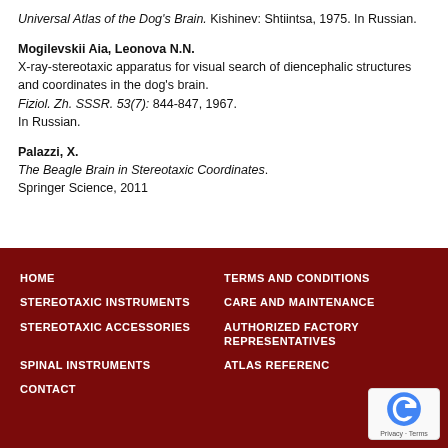Universal Atlas of the Dog's Brain. Kishinev: Shtiintsa, 1975. In Russian.
Mogilevskii Aia, Leonova N.N.
X-ray-stereotaxic apparatus for visual search of diencephalic structures and coordinates in the dog's brain.
Fiziol. Zh. SSSR. 53(7): 844-847, 1967.
In Russian.
Palazzi, X.
The Beagle Brain in Stereotaxic Coordinates.
Springer Science, 2011
HOME | STEREOTAXIC INSTRUMENTS | STEREOTAXIC ACCESSORIES | SPINAL INSTRUMENTS | CONTACT | TERMS AND CONDITIONS | CARE AND MAINTENANCE | AUTHORIZED FACTORY REPRESENTATIVES | ATLAS REFERENCES